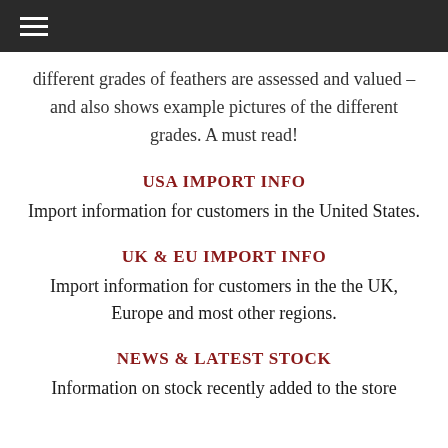☰
different grades of feathers are assessed and valued – and also shows example pictures of the different grades. A must read!
USA IMPORT INFO
Import information for customers in the United States.
UK & EU IMPORT INFO
Import information for customers in the the UK, Europe and most other regions.
NEWS & LATEST STOCK
Information on stock recently added to the store